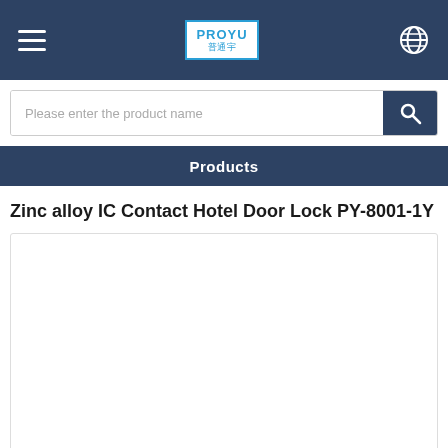PROYU [logo with Chinese characters]
Please enter the product name
Products
Zinc alloy IC Contact Hotel Door Lock PY-8001-1Y
[Figure (photo): Empty white product image box with light grey border]